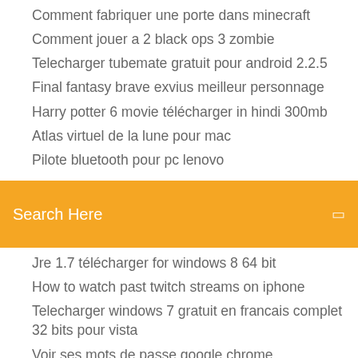Comment fabriquer une porte dans minecraft
Comment jouer a 2 black ops 3 zombie
Telecharger tubemate gratuit pour android 2.2.5
Final fantasy brave exvius meilleur personnage
Harry potter 6 movie télécharger in hindi 300mb
Atlas virtuel de la lune pour mac
Pilote bluetooth pour pc lenovo
Search Here
Jre 1.7 télécharger for windows 8 64 bit
How to watch past twitch streams on iphone
Telecharger windows 7 gratuit en francais complet 32 bits pour vista
Voir ses mots de passe google chrome
Regarder le match en direct gratuit coupe du monde
Telecharger photoshop version dessai en français
Transferer une video iphone vers pc
Telecharger gestionnaire de fichier pour windows phone
Avast antivirus for android review